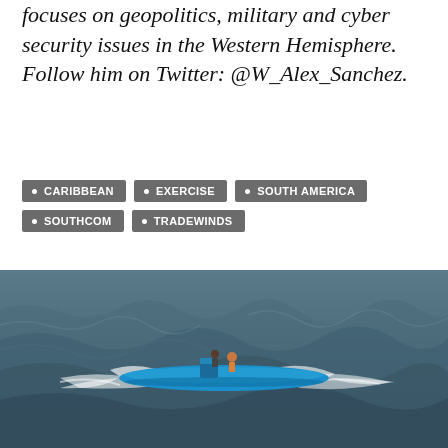focuses on geopolitics, military and cyber security issues in the Western Hemisphere. Follow him on Twitter: @W_Alex_Sanchez.
CARIBBEAN
EXERCISE
SOUTH AMERICA
SOUTHCOM
TRADEWINDS
[Figure (photo): Aerial view of a blue semi-submersible vessel (narco submarine) traveling through rough ocean waves, with one or two people visible on top near a small conning tower structure.]